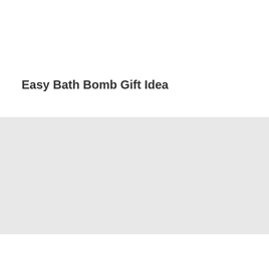Easy Bath Bomb Gift Idea
[Figure (photo): Light gray rectangular image placeholder area]